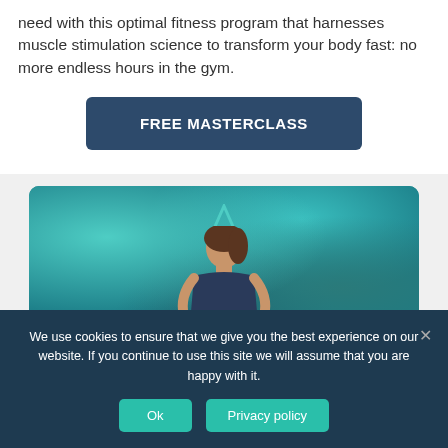need with this optimal fitness program that harnesses muscle stimulation science to transform your body fast: no more endless hours in the gym.
FREE MASTERCLASS
[Figure (photo): A woman standing in front of a teal/turquoise marble swirled background with a triangle logo icon above her head and cursive text reading 'The' and stylized text below it.]
We use cookies to ensure that we give you the best experience on our website. If you continue to use this site we will assume that you are happy with it.
Ok
Privacy policy